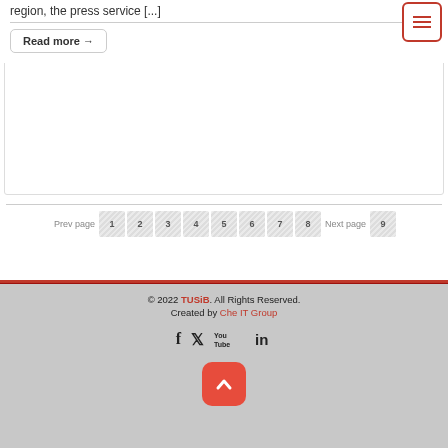region, the press service [...]
Read more →
[Figure (screenshot): Pagination navigation with Prev page, numbered buttons 1-9, and Next page labels]
© 2022 TUSiB. All Rights Reserved. Created by Che IT Group
[Figure (infographic): Social media icons: Facebook, Twitter, YouTube, LinkedIn]
[Figure (other): Back to top button (red rounded square with white chevron up arrow)]